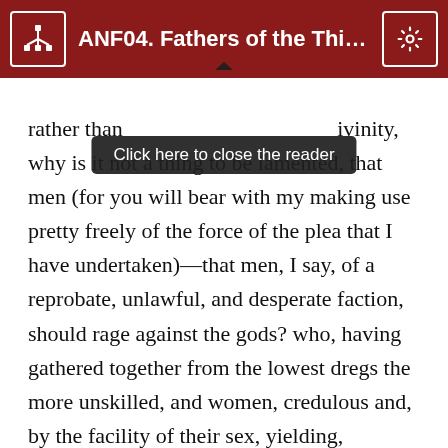ANF04. Fathers of the Third C…
[Figure (screenshot): Tooltip overlay reading 'Click here to close the reader']
rather than divinity, why is it not a thing to be lamented, that men (for you will bear with my making use pretty freely of the force of the plea that I have undertaken)—that men, I say, of a reprobate, unlawful, and desperate faction, should rage against the gods? who, having gathered together from the lowest dregs the more unskilled, and women, credulous and, by the facility of their sex, yielding, establish a herd of a profane conspiracy, which is leagued together by nightly meetings, and solemn fasts and inhuman meats—not by any sacred rite, but by that which